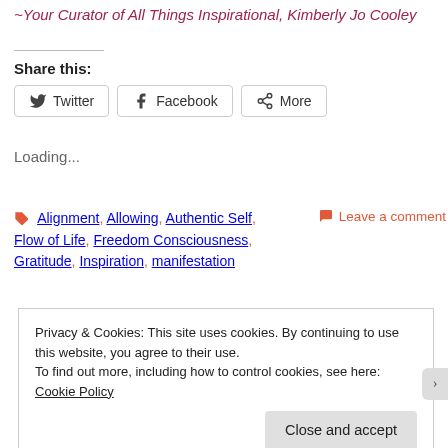~Your Curator of All Things Inspirational, Kimberly Jo Cooley
Share this:
Twitter  Facebook  More
Loading...
Alignment, Allowing, Authentic Self, Flow of Life, Freedom Consciousness, Gratitude, Inspiration, manifestation
Leave a comment
Privacy & Cookies: This site uses cookies. By continuing to use this website, you agree to their use.
To find out more, including how to control cookies, see here: Cookie Policy
Close and accept